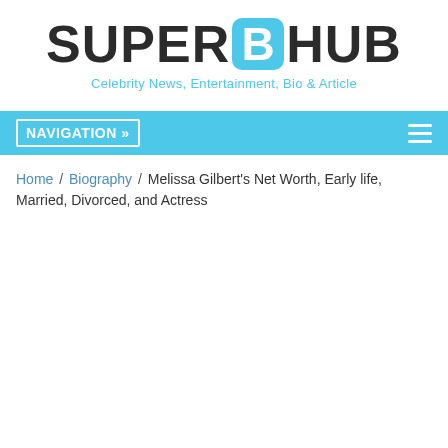[Figure (logo): SuperBHub logo with bold dark text and a cyan rounded-square B letter, followed by tagline 'Celebrity News, Entertainment, Bio & Article' in cyan]
NAVIGATION »
Home / Biography / Melissa Gilbert's Net Worth, Early life, Married, Divorced, and Actress